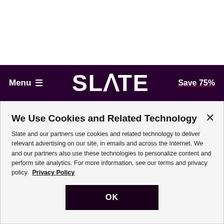Menu  SLATE  Save 75%
QUITE A FEW FAMILIAR FACES
We Use Cookies and Related Technology
Slate and our partners use cookies and related technology to deliver relevant advertising on our site, in emails and across the Internet. We and our partners also use these technologies to personalize content and perform site analytics. For more information, see our terms and privacy policy.  Privacy Policy
OK